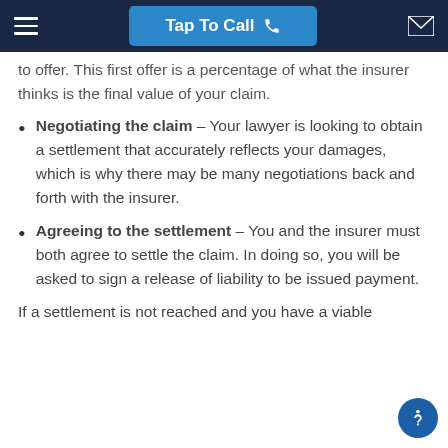Tap To Call
to offer. This first offer is a percentage of what the insurer thinks is the final value of your claim.
Negotiating the claim – Your lawyer is looking to obtain a settlement that accurately reflects your damages, which is why there may be many negotiations back and forth with the insurer.
Agreeing to the settlement – You and the insurer must both agree to settle the claim. In doing so, you will be asked to sign a release of liability to be issued payment.
If a settlement is not reached and you have a viable